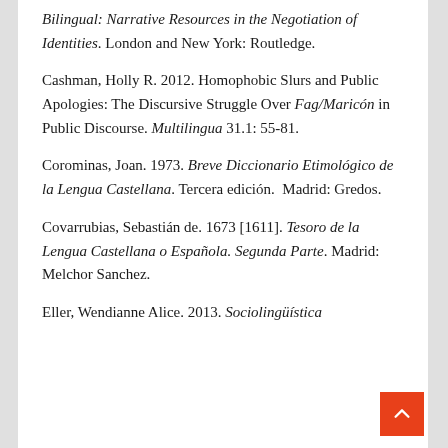Bilingual: Narrative Resources in the Negotiation of Identities. London and New York: Routledge.
Cashman, Holly R. 2012. Homophobic Slurs and Public Apologies: The Discursive Struggle Over Fag/Maricón in Public Discourse. Multilingua 31.1: 55-81.
Corominas, Joan. 1973. Breve Diccionario Etimológico de la Lengua Castellana. Tercera edición.  Madrid: Gredos.
Covarrubias, Sebastián de. 1673 [1611]. Tesoro de la Lengua Castellana o Española. Segunda Parte. Madrid: Melchor Sanchez.
Eller, Wendianne Alice. 2013. Sociolingüística